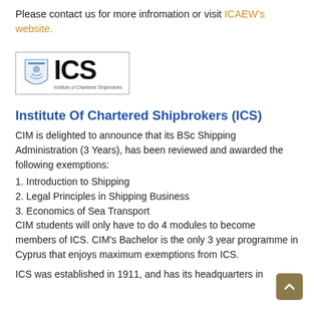Please contact us for more infromation or visit ICAEW's website.
[Figure (logo): ICS (Institute of Chartered Shipbrokers) logo with crest and bold ICS lettering, inside a rectangular border]
Institute Of Chartered Shipbrokers (ICS)
CIM is delighted to announce that its BSc Shipping Administration (3 Years), has been reviewed and awarded the following exemptions:
1. Introduction to Shipping
2. Legal Principles in Shipping Business
3. Economics of Sea Transport
CIM students will only have to do 4 modules to become members of ICS. CIM's Bachelor is the only 3 year programme in Cyprus that enjoys maximum exemptions from ICS.
ICS was established in 1911, and has its headquarters in